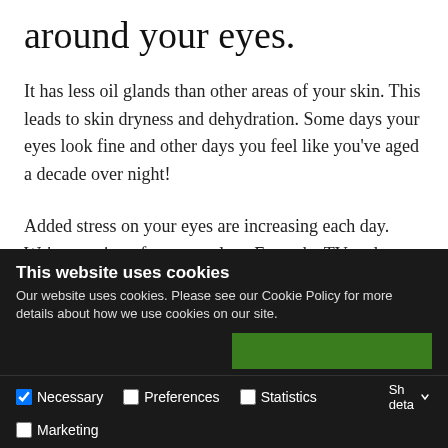around your eyes.
It has less oil glands than other areas of your skin. This leads to skin dryness and dehydration. Some days your eyes look fine and other days you feel like you've aged a decade over night!
Added stress on your eyes are increasing each day. We're a nation of screen oglers. From the TV and computer to phone and tablets. Your eyes are squinting and straining for hours which will be stretching and pulling on the
This website uses cookies
Our website uses cookies. Please see our Cookie Policy for more details about how we use cookies on our site.
Necessary  Preferences  Statistics  Marketing  Show details